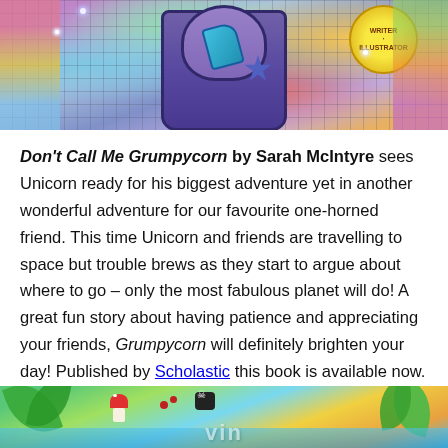[Figure (illustration): Top portion of a colorful children's book cover for 'Don't Call Me Grumpycorn' by Sarah McIntyre, showing a unicorn character with space/adventure theme, bright colors with diamond grid pattern overlay]
Don't Call Me Grumpycorn by Sarah McIntyre sees Unicorn ready for his biggest adventure yet in another wonderful adventure for our favourite one-horned friend. This time Unicorn and friends are travelling to space but trouble brews as they start to argue about where to go – only the most fabulous planet will do! A great fun story about having patience and appreciating your friends, Grumpycorn will definitely brighten your day! Published by Scholastic this book is available now.
[Figure (illustration): Bottom portion of another colorful children's book cover, showing tropical/jungle theme with bright greens, blues and warm colors, partial text visible at bottom]